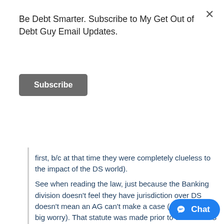Be Debt Smarter. Subscribe to My Get Out of Debt Guy Email Updates.
Subscribe
first, b/c at that time they were completely clueless to the impact of the DS world).
See when reading the law, just because the Banking division doesn't feel they have jurisdiction over DS doesn't mean an AG can't make a case (and that's the big worry). That statute was made prior to the word DS being used. And here's what should make a DS company nervous the definition: